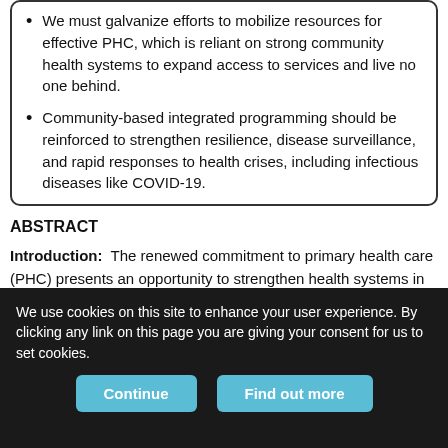We must galvanize efforts to mobilize resources for effective PHC, which is reliant on strong community health systems to expand access to services and live no one behind.
Community-based integrated programming should be reinforced to strengthen resilience, disease surveillance, and rapid responses to health crises, including infectious diseases like COVID-19.
ABSTRACT
Introduction: The renewed commitment to primary health care (PHC) presents an opportunity to strengthen health systems in West and Central Africa (WCA). Though evidence-based cost-effective interventions that are predicted to prevent up to one third of
We use cookies on this site to enhance your user experience. By clicking any link on this page you are giving your consent for us to set cookies.